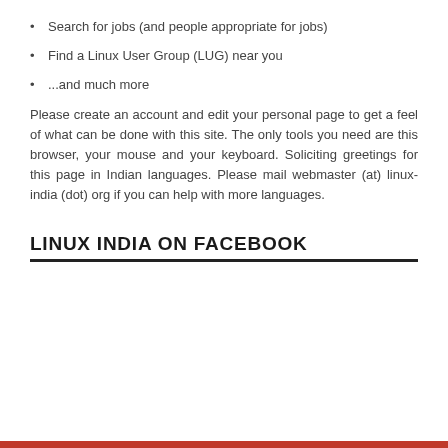Search for jobs (and people appropriate for jobs)
Find a Linux User Group (LUG) near you
...and much more
Please create an account and edit your personal page to get a feel of what can be done with this site. The only tools you need are this browser, your mouse and your keyboard. Soliciting greetings for this page in Indian languages. Please mail webmaster (at) linux-india (dot) org if you can help with more languages.
LINUX INDIA ON FACEBOOK